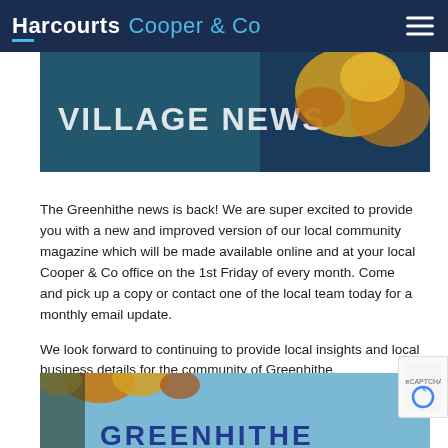Harcourts Cooper & Co
[Figure (photo): Village News banner image with autumn leaf and dark blue background with text 'VILLAGE NEWS']
The Greenhithe news is back! We are super excited to provide you with a new and improved version of our local community magazine which will be made available online and at your local Cooper & Co office on the 1st Friday of every month. Come and pick up a copy or contact one of the local team today for a monthly email update.
We look forward to continuing to provide local insights and local business details for the community of Greenhithe.
Click on the image below to view the July 2021 edition of the Greenhithe Village News
[Figure (photo): Greenhithe Village News magazine cover with autumn leaves and blue sky, text reads 'GREENHITHE']